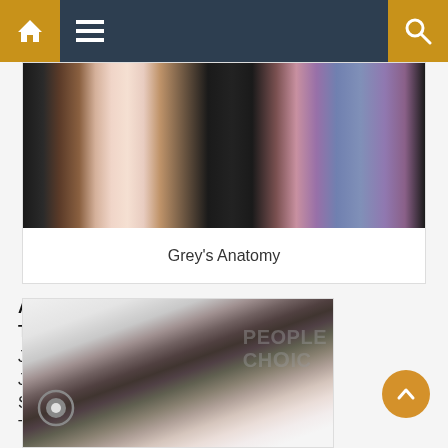Navigation bar with home, menu, and search icons
[Figure (photo): Group photo of Grey's Anatomy cast members, showing lower half of bodies in formal wear against a white backdrop]
Grey's Anatomy
Acteur dramatique favori
Taylor Kinney
Jesse Williams
Justin Chambers
Scott Foley
Terrence Howard
[Figure (photo): Photo of Taylor Kinney at People's Choice Awards, with CBS and People's Choice logos visible in the background]